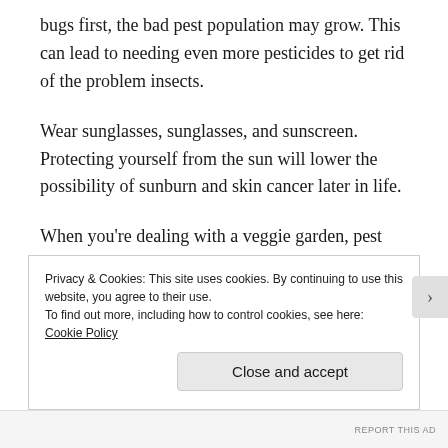bugs first, the bad pest population may grow. This can lead to needing even more pesticides to get rid of the problem insects.
Wear sunglasses, sunglasses, and sunscreen. Protecting yourself from the sun will lower the possibility of sunburn and skin cancer later in life.
When you're dealing with a veggie garden, pest control may be difficult. Since you are growing the vegetables for your own consumption, you want to stay away from pesticides. Staying on
Privacy & Cookies: This site uses cookies. By continuing to use this website, you agree to their use.
To find out more, including how to control cookies, see here: Cookie Policy
Close and accept
REPORT THIS AD